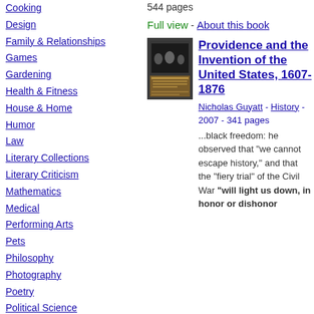Cooking
Design
Family & Relationships
Games
Gardening
Health & Fitness
House & Home
Humor
Law
Literary Collections
Literary Criticism
Mathematics
Medical
Performing Arts
Pets
Philosophy
Photography
Poetry
Political Science
Psychology
Religion
Self-Help
544 pages
Full view - About this book
Providence and the Invention of the United States, 1607-1876
Nicholas Guyatt - History - 2007 - 341 pages
...black freedom: he observed that "we cannot escape history," and that the "fiery trial" of the Civil War "will light us down, in honor or dishonor..."